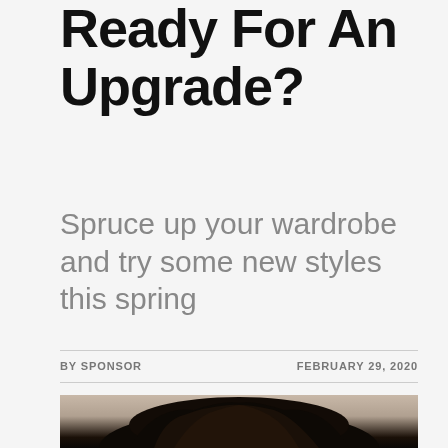Ready For An Upgrade?
Spruce up your wardrobe and try some new styles this spring
BY SPONSOR
FEBRUARY 29, 2020
[Figure (photo): Person with dark curly hair, partial view from top of head, neutral/beige background]